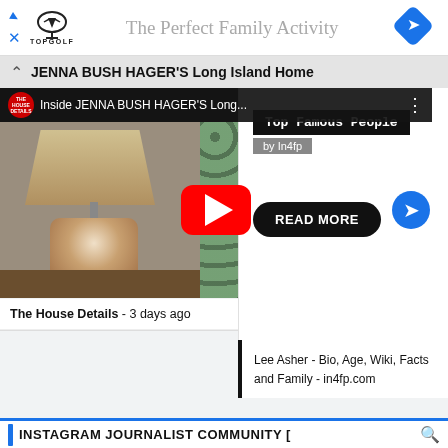[Figure (screenshot): Advertisement banner for Topgolf showing logo and 'The Perfect Family Activity' text with map navigation icon]
JENNA BUSH HAGER'S Long Island Home
[Figure (screenshot): YouTube video thumbnail for 'Inside JENNA BUSH HAGER'S Long...' by The House Details channel, showing a lamp and a woman against wallpaper background, with red play button overlay and blue next arrow]
The House Details - 3 days ago
[Figure (other): Top Famous People by In4fp widget with black badge and 'READ MORE' button]
Lee Asher - Bio, Age, Wiki, Facts and Family - in4fp.com
INSTAGRAM JOURNALIST COMMUNITY [